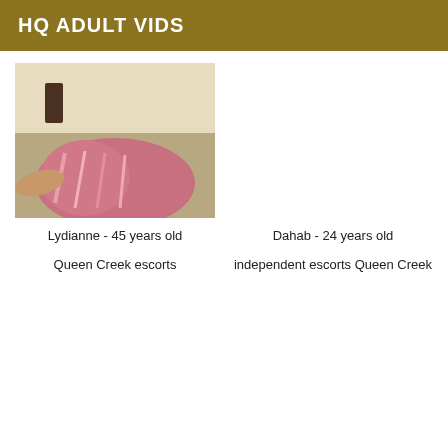HQ ADULT VIDS
[Figure (photo): Woman with dark hair wearing a pink patterned top, seated indoors]
Lydianne - 45 years old
Queen Creek escorts
Dahab - 24 years old
independent escorts Queen Creek
Aysun - 44 years old
Melea - 30 years old